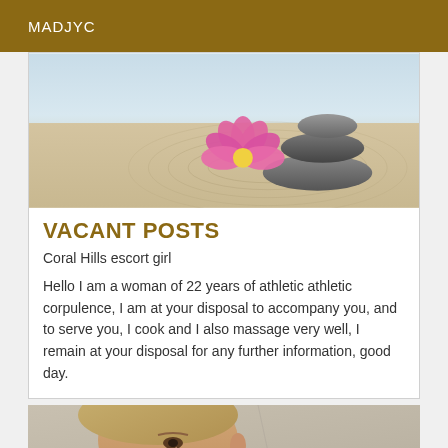MADJYC
[Figure (photo): Zen stones stacked with a pink lotus flower on sand, with circular ripple pattern in the sand.]
VACANT POSTS
Coral Hills escort girl
Hello I am a woman of 22 years of athletic athletic corpulence, I am at your disposal to accompany you, and to serve you, I cook and I also massage very well, I remain at your disposal for any further information, good day.
[Figure (photo): Close-up portrait of a woman with blonde hair and a light-colored fabric background.]